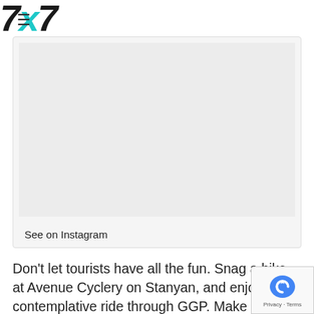7x7 logo with hamburger menu
[Figure (other): Instagram embed placeholder — light grey rectangle with 'See on Instagram' link at bottom]
Don't let tourists have all the fun. Snag a bike at Avenue Cyclery on Stanyan, and enjoy a contemplative ride through GGP. Make your way to Ocean Beach before heading back through the park's endless trails. // 10am to 6pm, Tuesday through Sunday; daily bike rentals begin at $30 at Avenue Cyclery, 756 Stanyan St. (Upper Haight),